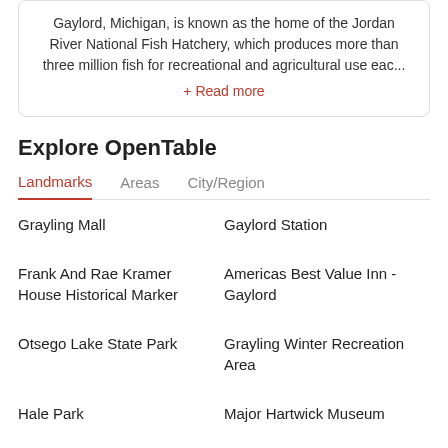Gaylord, Michigan, is known as the home of the Jordan River National Fish Hatchery, which produces more than three million fish for recreational and agricultural use eac...
+ Read more
Explore OpenTable
Landmarks  Areas  City/Region
Grayling Mall
Gaylord Station
Frank And Rae Kramer House Historical Marker
Americas Best Value Inn - Gaylord
Otsego Lake State Park
Grayling Winter Recreation Area
Hale Park
Major Hartwick Museum
Aspen Park
Grayling Golf Club